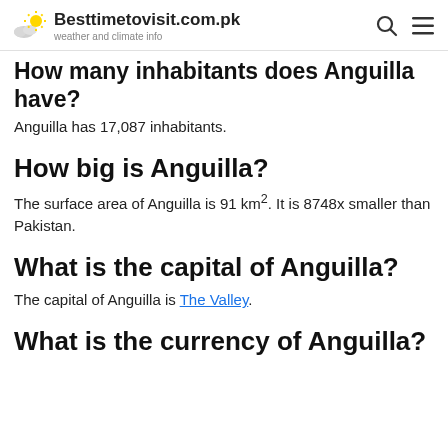Besttimetovisit.com.pk — weather and climate info
How many inhabitants does Anguilla have?
Anguilla has 17,087 inhabitants.
How big is Anguilla?
The surface area of Anguilla is 91 km². It is 8748x smaller than Pakistan.
What is the capital of Anguilla?
The capital of Anguilla is The Valley.
What is the currency of Anguilla?